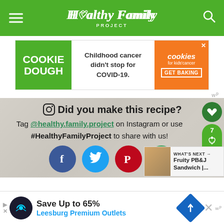Healthy Family Project
[Figure (infographic): Advertisement banner: Cookie Dough - Childhood cancer didn't stop for COVID-19. Cookies for kids' cancer GET BAKING]
Did you make this recipe?
Tag @healthy.family.project on Instagram or use #HealthyFamilyProject to share with us!
[Figure (infographic): Social share buttons: Facebook, Twitter, Pinterest, Email. What's Next: Fruity PB&J Sandwich]
[Figure (infographic): Bottom advertisement: Save Up to 65% Leesburg Premium Outlets]